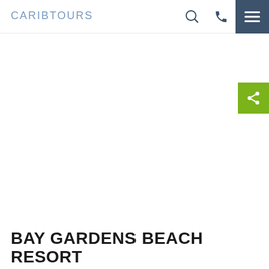CARIBTOURS
BAY GARDENS BEACH RESORT